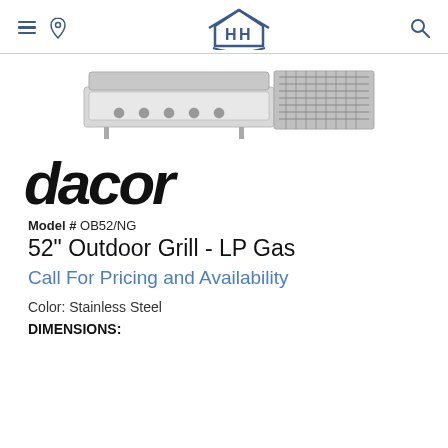H&H (logo)
[Figure (photo): Dacor 52-inch outdoor grill product image showing the grill unit and close-up detail of grill grates]
dacor
Model # OB52/NG
52" Outdoor Grill - LP Gas
Call For Pricing and Availability
Color: Stainless Steel
DIMENSIONS: